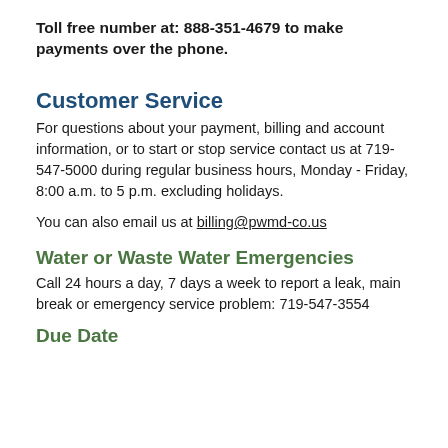Toll free number at: 888-351-4679 to make payments over the phone.
Customer Service
For questions about your payment, billing and account information, or to start or stop service contact us at 719-547-5000 during regular business hours, Monday - Friday, 8:00 a.m. to 5 p.m. excluding holidays.
You can also email us at billing@pwmd-co.us
Water or Waste Water Emergencies
Call 24 hours a day, 7 days a week to report a leak, main break or emergency service problem: 719-547-3554
Due Date